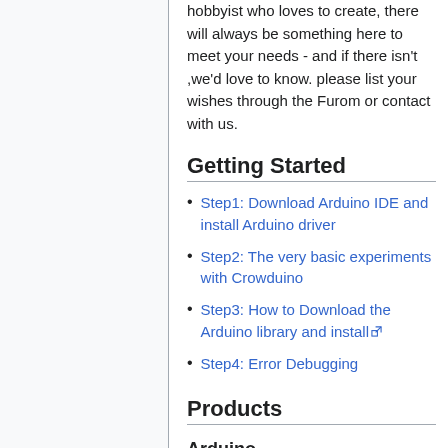hobbyist who loves to create, there will always be something here to meet your needs - and if there isn't ,we'd love to know. please list your wishes through the Furom or contact with us.
Getting Started
Step1: Download Arduino IDE and install Arduino driver
Step2: The very basic experiments with Crowduino
Step3: How to Download the Arduino library and install
Step4: Error Debugging
Products
Arduino